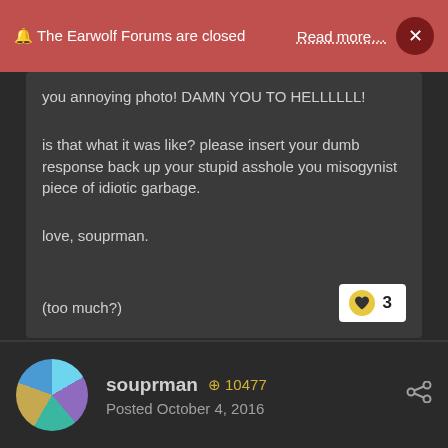🔔 The Earwolf Forums are closed  Read more…  ×
you annoying photo! DAMN YOU TO HELLLLLL!
is that what it was like? please insert your dumb response back up your stupid asshole you misogynist piece of idiotic garbage.
love, souprman.
(too much?)
❤ 3
souprman  ⊕ 10477
Posted October 4, 2016